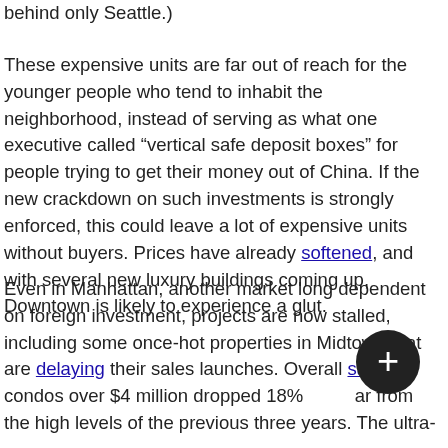behind only Seattle.)
These expensive units are far out of reach for the younger people who tend to inhabit the neighborhood, instead of serving as what one executive called “vertical safe deposit boxes” for people trying to get their money out of China. If the new crackdown on such investments is strongly enforced, this could leave a lot of expensive units without buyers. Prices have already softened, and with several new luxury buildings coming up, Downtown is likely to experience a glut.
Even in Manhattan, another market long dependent on foreign investment, projects are now stalled, including some once-hot properties in Midtown that are delaying their sales launches. Overall sales of condos over $4 million dropped 18% last year from the high levels of the previous three years. The ultra-